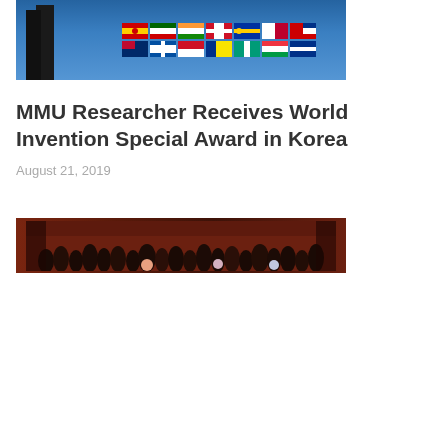[Figure (photo): Photo of a person standing in front of a display board with international country flags, on a blue background]
MMU Researcher Receives World Invention Special Award in Korea
August 21, 2019
[Figure (photo): Group photo of researchers/team members in what appears to be a venue with reddish-brown walls]